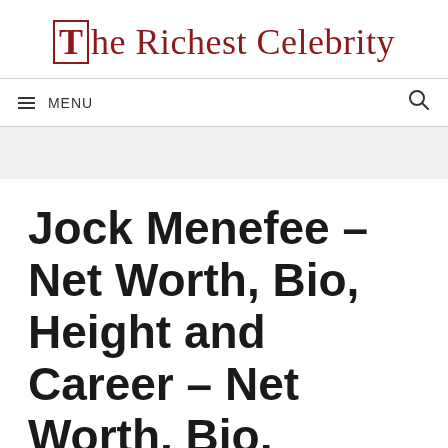The Richest Celebrity
[Figure (logo): The Richest Celebrity logo with stylized T in a red bordered box followed by text in dark red serif font]
Jock Menefee – Net Worth, Bio, Height and Career – Net Worth, Bio, Height